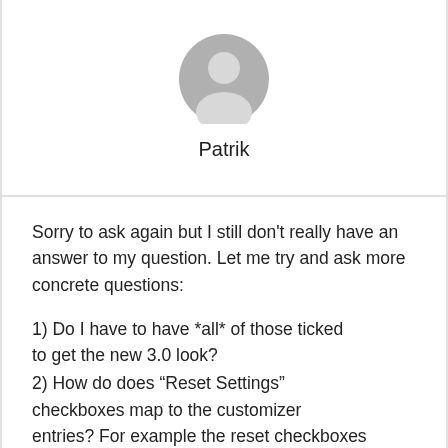[Figure (illustration): Gray silhouette avatar icon of a person]
Patrik
Sorry to ask again but I still don’t really have an answer to my question. Let me try and ask more concrete questions:
1) Do I have to have *all* of those ticked to get the new 3.0 look?
2) How do does “Reset Settings” checkboxes map to the customizer entries? For example the reset checkboxes are called “Core”, “Backgrounds”, …, while the customizer entries are called “Site identity”, “Layout”, … .
3) Would “Reset Settings” also reset